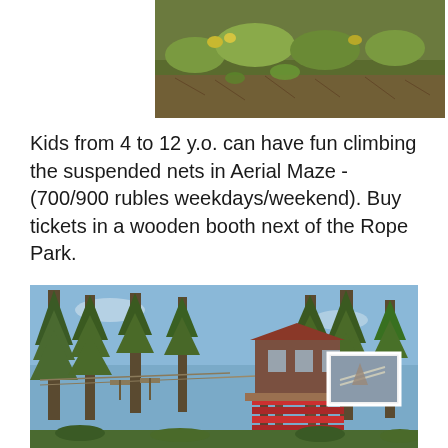[Figure (photo): Aerial view of grass and pine needles on ground, top portion of image cropped]
Kids from 4 to 12 y.o. can have fun climbing the suspended nets in Aerial Maze - (700/900 rubles weekdays/weekend). Buy tickets in a wooden booth next of the Rope Park.
[Figure (photo): Outdoor rope park in a pine forest showing tall trees, a red wooden elevated platform/tower structure, rope courses, and a blue sky. A small inset photo in the upper right corner shows a close-up detail.]